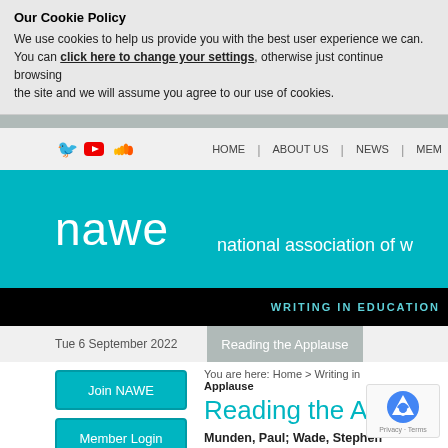Our Cookie Policy
We use cookies to help us provide you with the best user experience we can. You can click here to change your settings, otherwise just continue browsing the site and we will assume you agree to our use of cookies.
HOME | ABOUT US | NEWS | MEM
[Figure (logo): NAWE logo: nawe in white lowercase large text on teal background with tagline 'national association of w...']
WRITING IN EDUCATION
Tue 6 September 2022
Reading the Applause
You are here: Home > Writing in ... Applause
Reading the Appla
Munden, Paul; Wade, Stephen
Reflections on performance poetry, Ian McMillan
While printed poems may have...